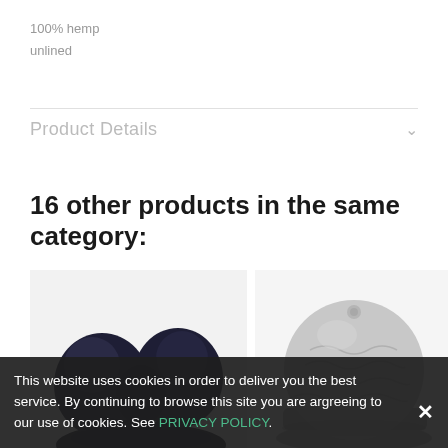100% hemp
unlined
Product Details
16 other products in the same category:
[Figure (photo): Photo of a dark navy/black knotted or ruffled hat/headband on a white background]
[Figure (photo): Photo of a grey knit beanie/hat on a white background]
This website uses cookies in order to deliver you the best service. By continuing to browse this site you are argreeing to our use of cookies. See PRIVACY POLICY.